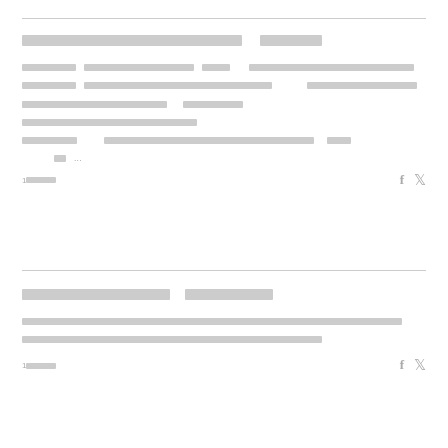[redacted title 1]
[redacted body text paragraph 1]
1[redacted] ...
[redacted title 2]
[redacted body text paragraph 2]
1[redacted]